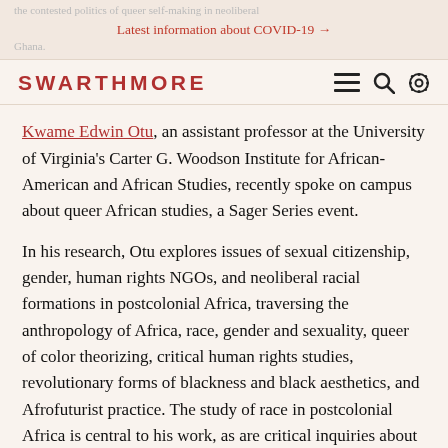the contested politics of queer self-making in neoliberal Ghana.
Latest information about COVID-19 →
SWARTHMORE
Kwame Edwin Otu, an assistant professor at the University of Virginia's Carter G. Woodson Institute for African-American and African Studies, recently spoke on campus about queer African studies, a Sager Series event.
In his research, Otu explores issues of sexual citizenship, gender, human rights NGOs, and neoliberal racial formations in postcolonial Africa, traversing the anthropology of Africa, race, gender and sexuality, queer of color theorizing, critical human rights studies, revolutionary forms of blackness and black aesthetics, and Afrofuturist practice. The study of race in postcolonial Africa is central to his work, as are critical inquiries about race in the African diaspora.